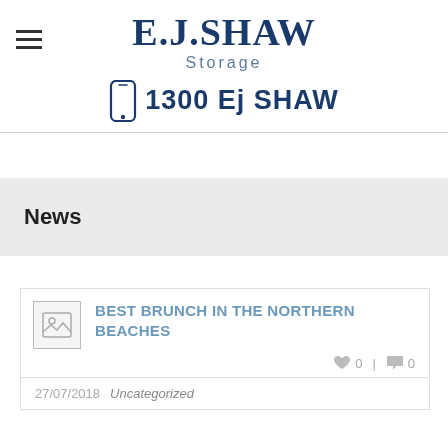E.J.SHAW Storage
1300 Ej SHAW
News
BEST BRUNCH IN THE NORTHERN BEACHES
0  0
27/07/2018 Uncategorized